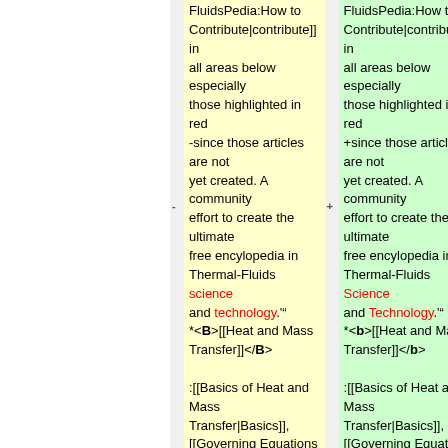FluidsPedia:How to Contribute|contribute]] in all areas below especially those highlighted in red -since those articles are not yet created. A community effort to create the ultimate free encylopedia in Thermal-Fluids science and technology.'"
*<B>[[Heat and Mass Transfer]]</B>
:[[Basics of Heat and Mass Transfer|Basics]], [[Governing Equations for Transport Phenomena|governing equations]],[[Integral formulation of governing equations|integral formulation]],[[Differential formulation of governing equations|differential
FluidsPedia:How to Contribute|contribute]] in all areas below especially those highlighted in red +since those articles are not yet created. A community effort to create the ultimate free encylopedia in Thermal-Fluids Science and Technology.'"
*<b>[[Heat and Mass Transfer]]</b>
:[[Basics of Heat and Mass Transfer|Basics]], [[Governing Equations for Transport Phenomena|governing equations]],[[Integral formulation of governing equations|integral formulation]],[[Differential formulation of governing equations|differential formulation]]. [[Averaging